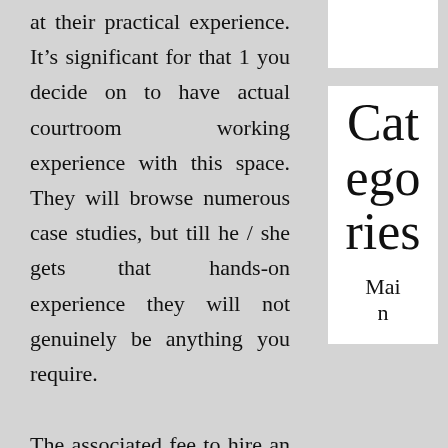at their practical experience. It’s significant for that 1 you decide on to have actual courtroom working experience with this space. They will browse numerous case studies, but till he / she gets that hands-on experience they will not genuinely be anything you require.
The associated fee to hire an attorney also needs to be deemed. You can not wish to employ the service of one particular unless of course you don’t have to be
Categories
Main